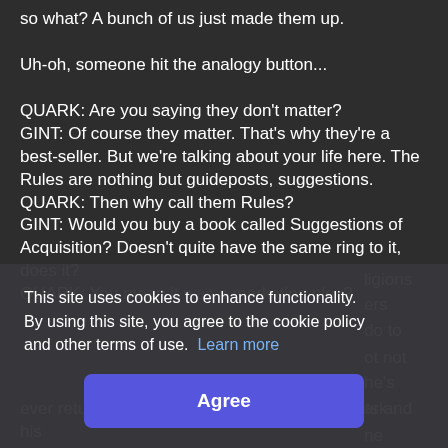so what? A bunch of us just made them up.

Uh-oh, someone hit the analogy button...

QUARK: Are you saying they don't matter?
GINT: Of course they matter. That's why they're a best-seller. But we're talking about your life here. The Rules are nothing but guideposts, suggestions.
QUARK: Then why call them Rules?
GINT: Would you buy a book called Suggestions of Acquisition? Doesn't quite have the same ring to it, does it?
QUARK: You mean it was a marketing ploy?
...ligions ...ers ...s do to ...ot not
This site uses cookies to enhance functionality. By using this site, you agree to the cookie policy and other terms of use. Learn more
Agree
...he's ...ark ...ne ever returns to the bar. He may be out of assets and his